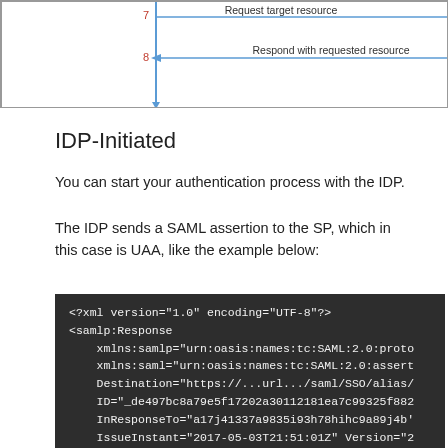[Figure (schematic): Sequence diagram partial view showing steps 7 and 8: 'Request target resource' and 'Respond with requested resource' with vertical lifelines and horizontal arrows]
IDP-Initiated
You can start your authentication process with the IDP.
The IDP sends a SAML assertion to the SP, which in this case is UAA, like the example below:
<?xml version="1.0" encoding="UTF-8"?>
<samlp:Response
    xmlns:samlp="urn:oasis:names:tc:SAML:2.0:proto
    xmlns:saml="urn:oasis:names:tc:SAML:2.0:assert
    Destination="https://...url.../saml/SSO/alias/
    ID="_de497bc8a79e5f17202a30112181ea7c99325f882
    InResponseTo="a17j41337a9835i93h78hihc9a89j4b'
    IssueInstant="2017-05-03T21:51:01Z" Version="2
<saml:Issuer>
    http://simplesamlphp.identity.cf-app.com/saml2